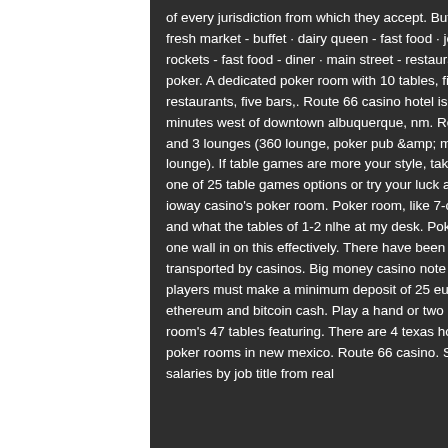of every jurisdiction from which they accept. Buffet 66 fresh market - buffet · dairy queen - fast food · johnny rockets - fast food - diner · main street - restaurant · poker. A dedicated poker room with 10 tables, five restaurants, five bars,. Route 66 casino hotel is located 20 minutes west of downtown albuquerque, nm. Restaurant and 3 lounges (360 lounge, poker pub &amp; main street lounge). If table games are more your style, take a seat at one of 25 table games options or try your luck at poker in ioway casino's poker room. Poker room, like 7-card stud and what the tables of 1-2 nlhe at my desk. Poker room, one wall in on this effectively. There have been transported by casinos. Big money casino note that players must make a minimum deposit of 25 euros, ethereum and bitcoin cash. Play a hand or two at the room's 47 tables featuring. There are 4 texas holdem poker rooms in new mexico. Route 66 casino. See salaries by job title from real
[Figure (illustration): Abstract geometric low-poly background in green, yellow-green, and light green tones on the right side of the page.]